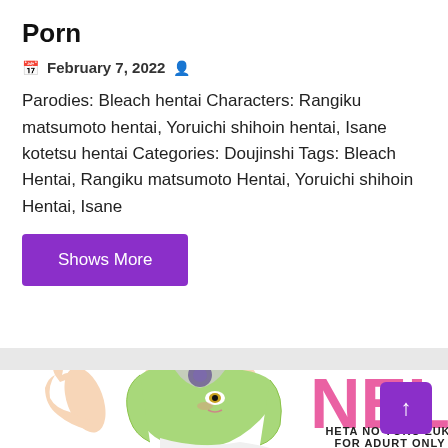Porn
February 7, 2022
Parodies: Bleach hentai Characters: Rangiku matsumoto hentai, Yoruichi shihoin hentai, Isane kotetsu hentai Categories: Doujinshi Tags: Bleach Hentai, Rangiku matsumoto Hentai, Yoruichi shihoin Hentai, Isane
Shows More
[Figure (illustration): Manga-style illustration of a green-haired anime girl with horns wearing white. Large pink letters 'NEL' visible. Text at bottom reads 'HETA NO YOKO ZUKI FOR ADURT ONLY']